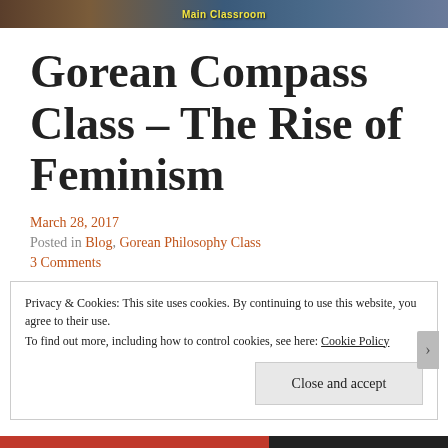[Figure (photo): Banner image with 'Main Classroom' text in yellow on a blended background]
Gorean Compass Class – The Rise of Feminism
March 28, 2017
Posted in Blog, Gorean Philosophy Class
3 Comments
Privacy & Cookies: This site uses cookies. By continuing to use this website, you agree to their use. To find out more, including how to control cookies, see here: Cookie Policy
Close and accept